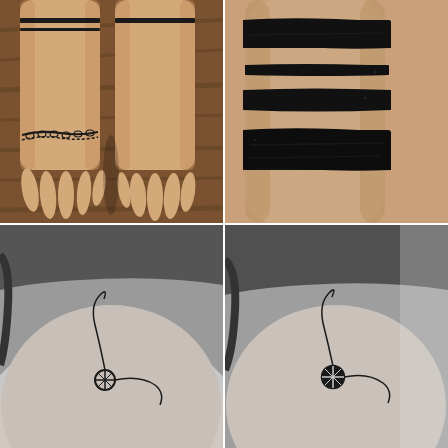[Figure (photo): Two wrists held palm-up side by side on a wooden surface. One wrist has two thin black band tattoos near the top, and a delicate chain/bracelet-style tattoo at the wrist. The other wrist has a similar thin band tattoo near the top.]
[Figure (photo): Close-up of an arm showing multiple broad bold black band/stripe tattoos wrapping around the arm, with varying thicknesses and rough brush-stroke edges.]
[Figure (photo): Black and white photo of a shoulder/upper back area showing a small minimalist tattoo resembling a compass or abstract circular design with thin curved lines extending from it.]
[Figure (photo): Black and white photo of the same shoulder area showing the same compass/abstract tattoo design, slightly different angle or lighting, comparing before/after or two versions of the tattoo.]